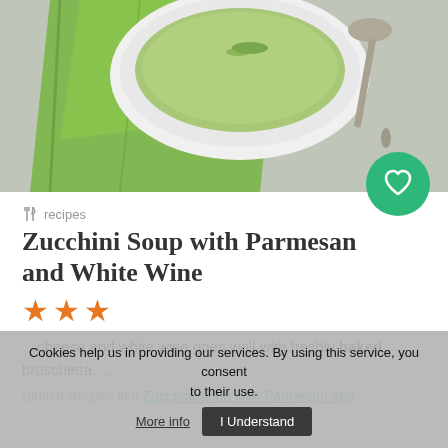[Figure (photo): Top-down photo of a bowl of green zucchini soup on a gray surface with a green linen napkin and a silver spoon.]
recipes
Zucchini Soup with Parmesan and White Wine
★★★ (3 stars)
…cheese and white wine goes well with freshly baked bruschetta….
Similar recipes like Zucchini Soup with Parmesan and
Cookies help us in providing our services. By using this service, you consent to their use. More info  I Understand